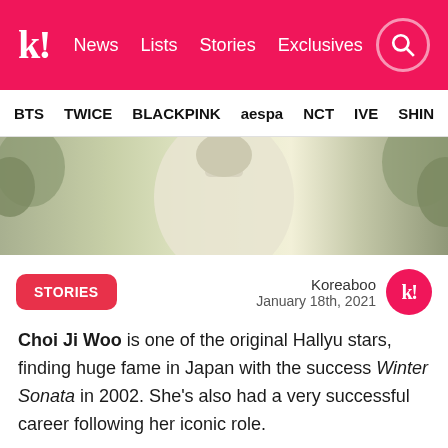k! News Lists Stories Exclusives [search]
BTS TWICE BLACKPINK aespa NCT IVE SHIN...
[Figure (photo): Top portion of a person in white clothing against a light background with trees, cropped to show only the neck and chin area]
STORIES
Koreaboo
January 18th, 2021
Choi Ji Woo is one of the original Hallyu stars, finding huge fame in Japan with the success Winter Sonata in 2002. She's also had a very successful career following her iconic role.
[Figure (photo): Bottom partial image, dark blue toned photo of a person]